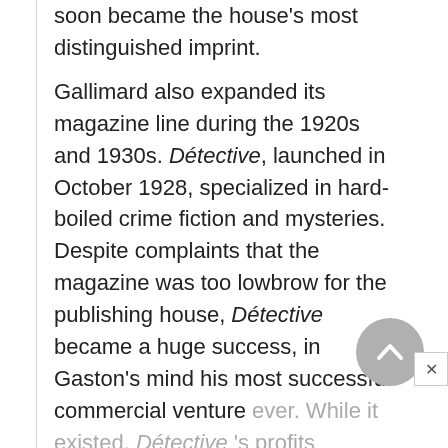soon became the house's most distinguished imprint.

Gallimard also expanded its magazine line during the 1920s and 1930s. Détective, launched in October 1928, specialized in hard-boiled crime fiction and mysteries. Despite complaints that the magazine was too lowbrow for the publishing house, Détective became a huge success, in Gaston's mind his most successful commercial venture ever. While it existed, Détective's profits financed, to a large degree